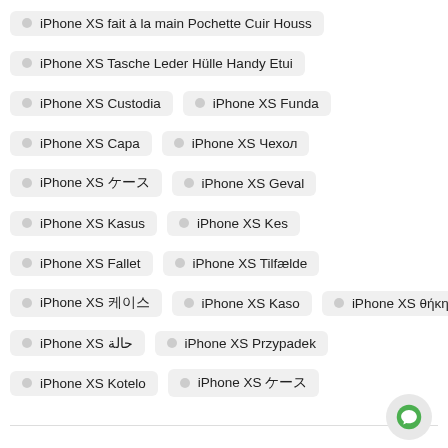iPhone XS fait à la main Pochette Cuir Houss
iPhone XS Tasche Leder Hülle Handy Etui
iPhone XS Custodia
iPhone XS Funda
iPhone XS Capa
iPhone XS Чехол
iPhone XS ケース
iPhone XS Geval
iPhone XS Kasus
iPhone XS Kes
iPhone XS Fallet
iPhone XS Tilfælde
iPhone XS 케이스
iPhone XS Kaso
iPhone XS θήκη
iPhone XS حالة
iPhone XS Przypadek
iPhone XS Kotelo
iPhone XS ケース